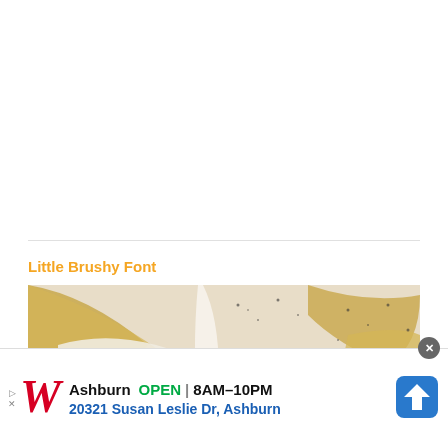Little Brushy Font
[Figure (illustration): Font preview image showing 'LITTLE BRUSHY' text in a bold brushy font on a gold and white painted brush stroke background with black speckles]
[Figure (infographic): Walgreens advertisement banner showing Walgreens logo, Ashburn store location, OPEN status, hours 8AM-10PM, address 20321 Susan Leslie Dr Ashburn, and navigation arrow icon]